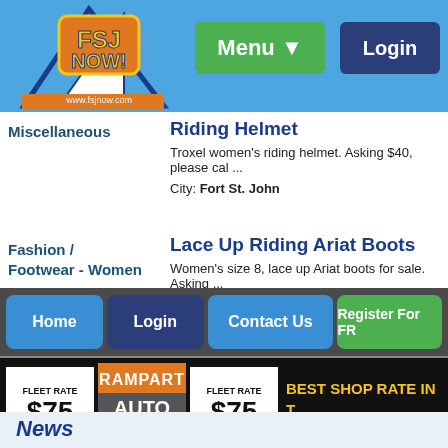[Figure (logo): FSJ NOW logo with www.fsjnow.com]
Menu ▼    Login
Miscellaneous
Riding Helmet
Troxel women's riding helmet. Asking $40, please cal ...
City: Fort St. John
Fashion / Footwear - Women
Lace Up Riding Ariat Boots
Women's size 8, lace up Ariat boots for sale. Asking ...
City: Fort St. John
[Figure (advertisement): Rampart Auto advertisement: Fleet Rate $75 Per Hour, 250-787-1669, Best Shop Rate In Town]
Home  Login  Contact Us  Register For FR
News